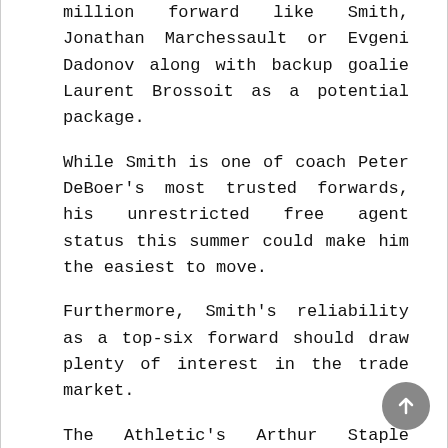million forward like Smith, Jonathan Marchessault or Evgeni Dadonov along with backup goalie Laurent Brossoit as a potential package.
While Smith is one of coach Peter DeBoer's most trusted forwards, his unrestricted free agent status this summer could make him the easiest to move.
Furthermore, Smith's reliability as a top-six forward should draw plenty of interest in the trade market.
The Athletic's Arthur Staple suggested him as a trade target for the New York Rangers to address their need for a top-six right winger. The Blueshirts have the cap space to easily absorb his cap hit and depth in promising prospects to offer as trade bait.
Given Smith's lack of no-trade protection, the Golden Knights could ship him anywhere. That could prove useful if they have to move him quickly should Eichel be ready to return to action before deadline day.